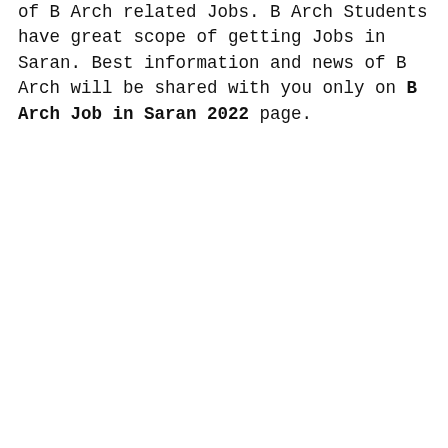of B Arch related Jobs. B Arch Students have great scope of getting Jobs in Saran. Best information and news of B Arch will be shared with you only on B Arch Job in Saran 2022 page.